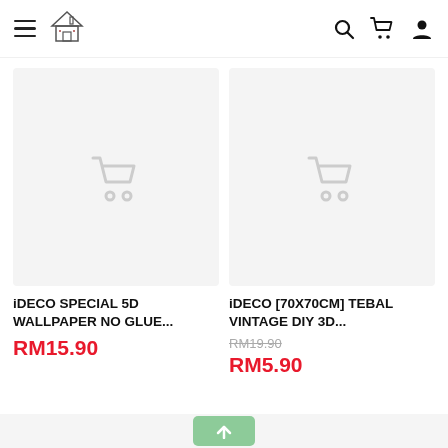[Figure (screenshot): Navigation header bar with hamburger menu, house logo, search icon, cart icon, and user profile icon]
[Figure (photo): Product placeholder image with light grey background and faded shopping cart icon for iDECO SPECIAL 5D WALLPAPER NO GLUE product]
iDECO SPECIAL 5D WALLPAPER NO GLUE...
RM15.90
[Figure (photo): Product placeholder image with light grey background and faded shopping cart icon for iDECO [70X70CM] TEBAL VINTAGE DIY 3D product]
iDECO [70X70CM] TEBAL VINTAGE DIY 3D...
RM19.90
RM5.90
[Figure (screenshot): Footer bar with green scroll-to-top button showing upward arrow]